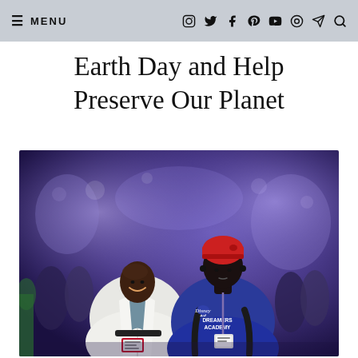☰ MENU
Earth Day and Help Preserve Our Planet
[Figure (photo): Two people posing for a photo at an event with purple ambient lighting. A woman in a white blazer with a conference badge on the left, and a young man wearing a red beanie and a blue Disney Dreamers Academy t-shirt with a conference lanyard on the right.]